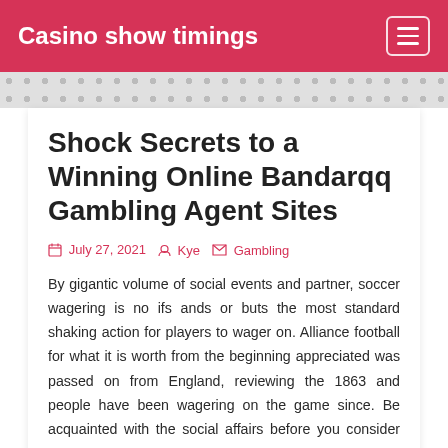Casino show timings
Shock Secrets to a Winning Online Bandarqq Gambling Agent Sites
July 27, 2021   Kye   Gambling
By gigantic volume of social events and partner, soccer wagering is no ifs ands or buts the most standard shaking action for players to wager on. Alliance football for what it is worth from the beginning appreciated was passed on from England, reviewing the 1863 and people have been wagering on the game since. Be acquainted with the social affairs before you consider soccer